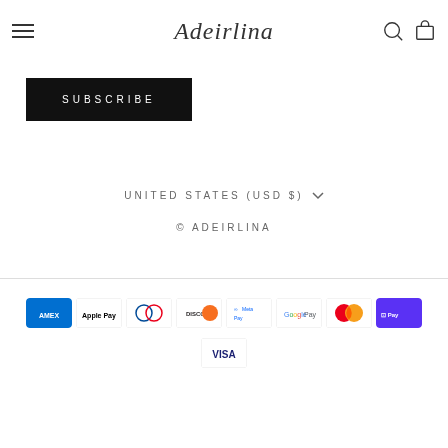Adeirlina
SUBSCRIBE
UNITED STATES (USD $)
© ADEIRLINA
[Figure (other): Payment method icons: American Express, Apple Pay, Diners Club, Discover, Meta Pay, Google Pay, Mastercard, Shop Pay, Visa]